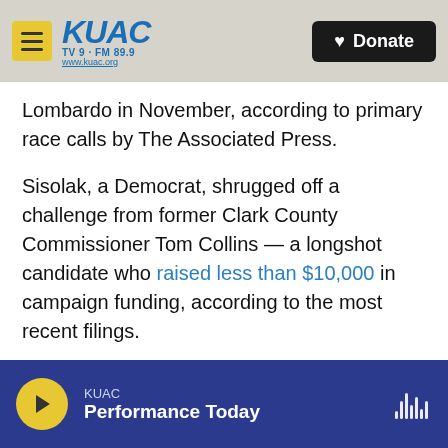KUAC TV 9 · FM 89.9 www.kuac.org — Donate
Lombardo in November, according to primary race calls by The Associated Press.
Sisolak, a Democrat, shrugged off a challenge from former Clark County Commissioner Tom Collins — a longshot candidate who raised less than $10,000 in campaign funding, according to the most recent filings.
Meanwhile, Lombardo, who was endorsed by former President Donald Trump, had to face members of his own party campaigning even further to the right in the state's top primaries. He
KUAC — Performance Today